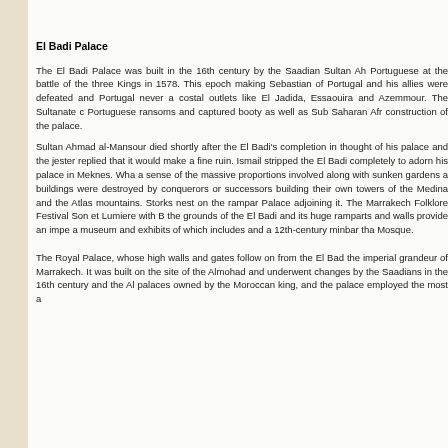El Badi Palace
The El Badi Palace was built in the 16th century by the Saadian Sultan Ah Portuguese at the battle of the three Kings in 1578. This epoch making Sebastian of Portugal and his allies were defeated and Portugal never a costal outlets like El Jadida, Essaouira and Azemmour. The Sultanate c Portuguese ransoms and captured booty as well as Sub Saharan Afr construction of the palace.
Sultan Ahmad al-Mansour died shortly after the El Badi's completion in thought of his palace and the jester replied that it would make a fine ruin. Ismail stripped the El Badi completely to adorn his palace in Meknes. Wha a sense of the massive proportions involved along with sunken gardens a buildings were destroyed by conquerors or successors building their own towers of the Medina and the Atlas mountains. Storks nest on the rampar Palace adjoining it. The Marrakech Folklore Festival Son et Lumiere with E the grounds of the El Badi and its huge ramparts and walls provide an impe a museum and exhibits of which includes and a 12th-century minbar tha Mosque.
The Royal Palace, whose high walls and gates follow on from the El Bad the imperial grandeur of Marrakech. It was built on the site of the Almohad and underwent changes by the Saadians in the 16th century and the Al palaces owned by the Moroccan king, and the palace employed the most a